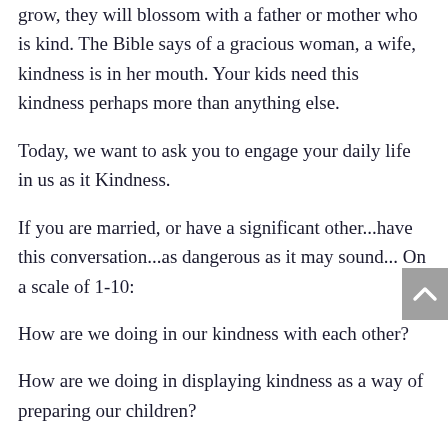grow, they will blossom with a father or mother who is kind. The Bible says of a gracious woman, a wife, kindness is in her mouth. Your kids need this kindness perhaps more than anything else.
Today, we want to ask you to engage your daily life in us as it Kindness.
If you are married, or have a significant other...have this conversation...as dangerous as it may sound... On a scale of 1-10:
How are we doing in our kindness with each other?
How are we doing in displaying kindness as a way of preparing our children?
How are we known by others that have no faith